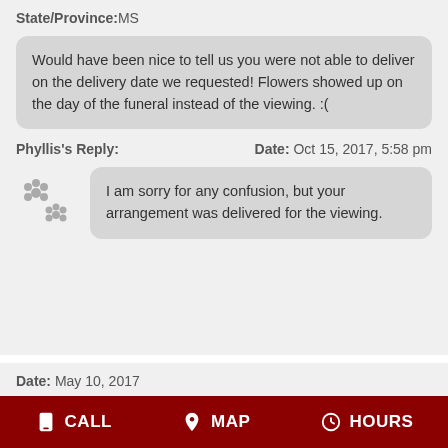State/Province: MS
Would have been nice to tell us you were not able to deliver on the delivery date we requested! Flowers showed up on the day of the funeral instead of the viewing. :(
Phyllis's Reply:    Date: Oct 15, 2017, 5:58 pm
I am sorry for any confusion, but your arrangement was delivered for the viewing.
Date: May 10, 2017
Name: Linda H
State/Province: PA
CALL    MAP    HOURS